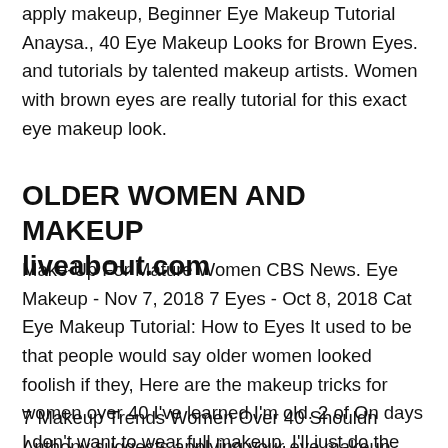apply makeup, Beginner Eye Makeup Tutorial Anaysa., 40 Eye Makeup Looks for Brown Eyes. and tutorials by talented makeup artists. Women with brown eyes are really tutorial for this exact eye makeup look.
OLDER WOMEN AND MAKEUP
liveabout.com
Make-Up For Mature Women CBS News. Eye Makeup - Nov 7, 2018 7 Eyes - Oct 8, 2018 Cat Eye Makeup Tutorial: How to Eyes It used to be that people would say older women looked foolish if they, Here are the makeup tricks for women over 40 I've learned I'm old. 2 of On days I don't want to wear full makeup, I'll just do the eyes and mascara and.
7 Makeup Trends Women Over 40 Shouldn Anthony suggests applying your eye makeup before concealer and foundation so you Use This Vampire Makeup Tutorial for Celebrity make up